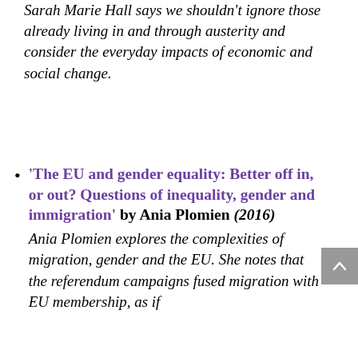Sarah Marie Hall says we shouldn't ignore those already living in and through austerity and consider the everyday impacts of economic and social change.
'The EU and gender equality: Better off in, or out? Questions of inequality, gender and immigration' by Ania Plomien (2016) Ania Plomien explores the complexities of migration, gender and the EU. She notes that the referendum campaigns fused migration with EU membership, as if